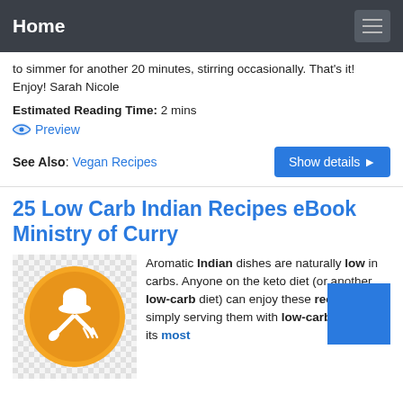Home
to simmer for another 20 minutes, stirring occasionally. That's it! Enjoy! Sarah Nicole
Estimated Reading Time: 2 mins
Preview
See Also: Vegan Recipes
25 Low Carb Indian Recipes eBook Ministry of Curry
[Figure (logo): Orange circular logo with chef hat, spoon and fork crossed, on checkered background]
Aromatic Indian dishes are naturally low in carbs. Anyone on the keto diet (or another low-carb diet) can enjoy these recipes by simply serving them with low-carb sides. At its most